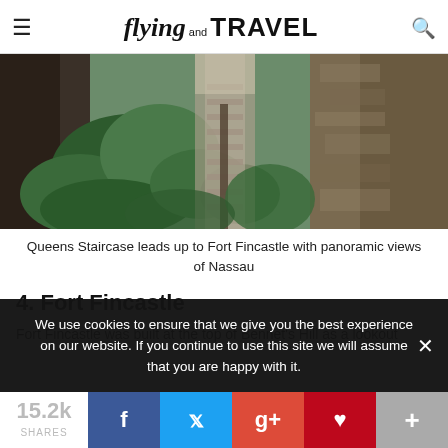flying and TRAVEL
[Figure (photo): Queens Staircase leading up through lush vegetation and stone walls toward Fort Fincastle, Nassau, Bahamas]
Queens Staircase leads up to Fort Fincastle with panoramic views of Nassau
4. Fort Fincastle
Fort Fincastle was built at the top of Bennet's Hill as a lookout
We use cookies to ensure that we give you the best experience on our website. If you continue to use this site we will assume that you are happy with it.
15.2k SHARES